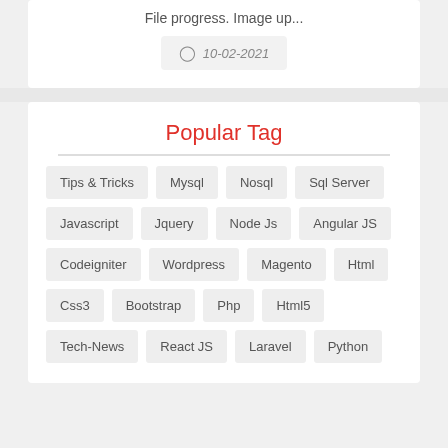File progress. Image up...
10-02-2021
Popular Tag
Tips & Tricks
Mysql
Nosql
Sql Server
Javascript
Jquery
Node Js
Angular JS
Codeigniter
Wordpress
Magento
Html
Css3
Bootstrap
Php
Html5
Tech-News
React JS
Laravel
Python